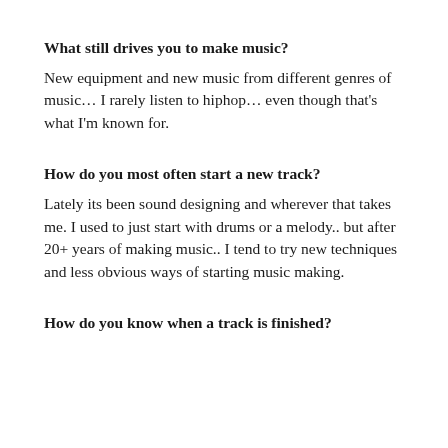What still drives you to make music?
New equipment and new music from different genres of music… I rarely listen to hiphop… even though that's what I'm known for.
How do you most often start a new track?
Lately its been sound designing and wherever that takes me. I used to just start with drums or a melody.. but after 20+ years of making music.. I tend to try new techniques and less obvious ways of starting music making.
How do you know when a track is finished?